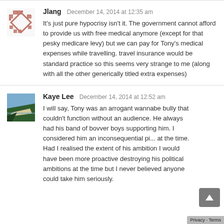Jlang   December 14, 2014 at 12:35 am
It's just pure hypocrisy isn't it. The government cannot afford to provide us with free medical anymore (except for that pesky medicare levy) but we can pay for Tony's medical expenses while travelling. travel insurance would be standard practice so this seems very strange to me (along with all the other generically titled extra expenses)
Kaye Lee   December 14, 2014 at 12:52 am
I will say, Tony was an arrogant wannabe bully that couldn't function without an audience. He always had his band of bovver boys supporting him. I considered him an inconsequential pi... at the time. Had I realised the extent of his ambition I would have been more proactive destroying his political ambitions at the time but I never believed anyone could take him seriously.